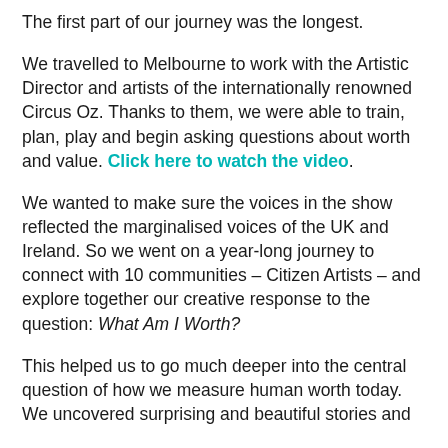The first part of our journey was the longest.
We travelled to Melbourne to work with the Artistic Director and artists of the internationally renowned Circus Oz. Thanks to them, we were able to train, plan, play and begin asking questions about worth and value. Click here to watch the video.
We wanted to make sure the voices in the show reflected the marginalised voices of the UK and Ireland. So we went on a year-long journey to connect with 10 communities – Citizen Artists – and explore together our creative response to the question: What Am I Worth?
This helped us to go much deeper into the central question of how we measure human worth today. We uncovered surprising and beautiful stories and